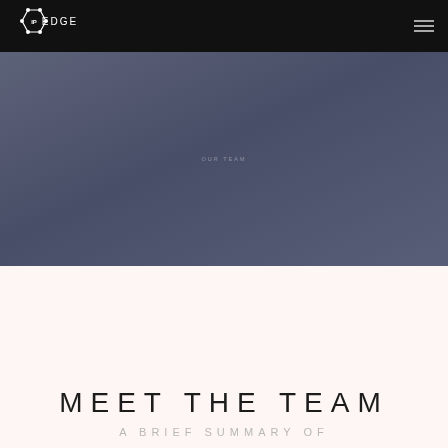IP EDGE
[Figure (illustration): IP Edge logo — hexagon with dots at vertices and IP EDGE text in white on black navbar]
[Figure (photo): Dark blue-grey hero banner section with faint text 'OUR TEAM' centered]
MEET THE TEAM
A BRIEF SUMMARY OF